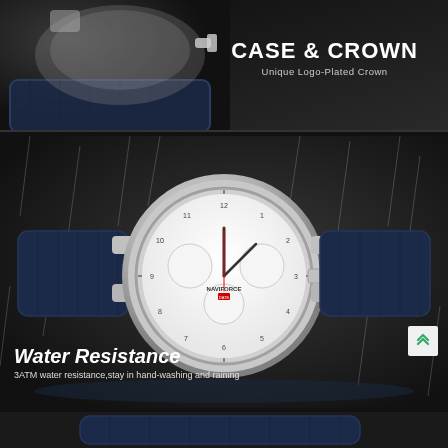[Figure (photo): Dark product photo of a watch case and crown detail with blue leather strap and silver case on black background. Text overlay: CASE & CROWN / Unique Logo-Plated Crown]
[Figure (photo): Watch with white chronograph dial, silver case, blue leather strap, photographed in rain/water splashing environment. NAVIFORCE brand. Text overlay: Water Resistance / 3ATM water resistance, stay in hand-washing and raining]
[Figure (photo): Bottom partial photo showing blue leather watch strap on dark background.]